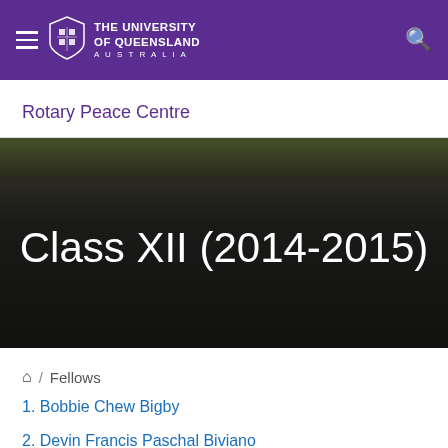The University of Queensland Australia
Rotary Peace Centre
[Figure (other): Dark hero banner with trees visible at top, displaying text 'Class XII (2014-2015)' in large white serif-style font on a dark background.]
/ Fellows
1. Bobbie Chew Bigby
2. Devin Francis Paschal Biviano